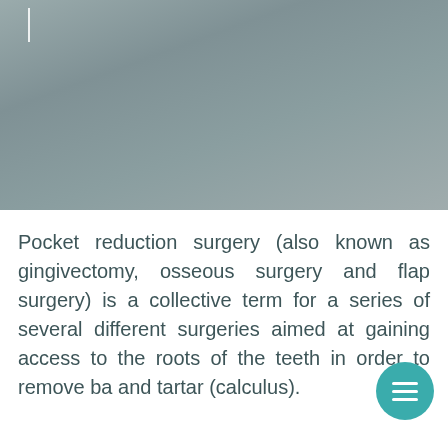[Figure (photo): Gray-toned image area at the top of the page, partially cropped, with a short white vertical line element in the upper left area. The image appears to be a dental or medical photograph with a muted gray background.]
Pocket reduction surgery (also known as gingivectomy, osseous surgery and flap surgery) is a collective term for a series of several different surgeries aimed at gaining access to the roots of the teeth in order to remove ba and tartar (calculus).